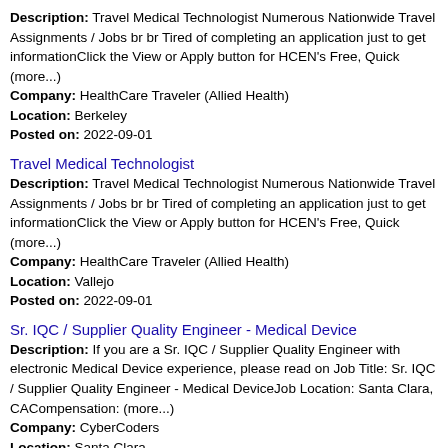Description: Travel Medical Technologist Numerous Nationwide Travel Assignments / Jobs br br Tired of completing an application just to get informationClick the View or Apply button for HCEN's Free, Quick (more...) Company: HealthCare Traveler (Allied Health) Location: Berkeley Posted on: 2022-09-01
Travel Medical Technologist
Description: Travel Medical Technologist Numerous Nationwide Travel Assignments / Jobs br br Tired of completing an application just to get informationClick the View or Apply button for HCEN's Free, Quick (more...) Company: HealthCare Traveler (Allied Health) Location: Vallejo Posted on: 2022-09-01
Sr. IQC / Supplier Quality Engineer - Medical Device
Description: If you are a Sr. IQC / Supplier Quality Engineer with electronic Medical Device experience, please read on Job Title: Sr. IQC / Supplier Quality Engineer - Medical DeviceJob Location: Santa Clara, CACompensation: (more...) Company: CyberCoders Location: Santa Clara Posted on: 2022-09-01
Medical Assistant- Regional Operations- Castro Valley (Per Diem)